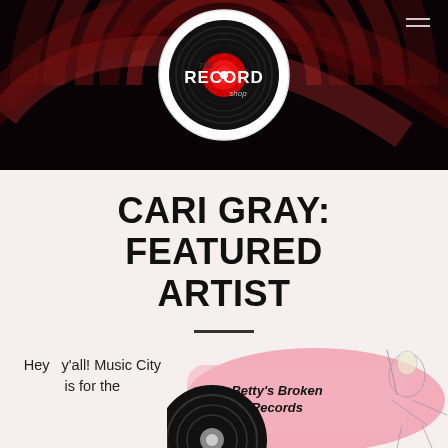[Figure (illustration): The Record Shop banner with circular logo on dark vinyl swirl background. Logo shows a vinyl record with red center, text 'THE RECORD shop' in graffiti style on white circle. Hamburger menu icon top right.]
CARI GRAY: FEATURED ARTIST
[Figure (illustration): Album art image: pink background with text "Betty's Broken Records" and illustration of a woman, partially visible at bottom of page.]
Hey y'all! Music City is for the